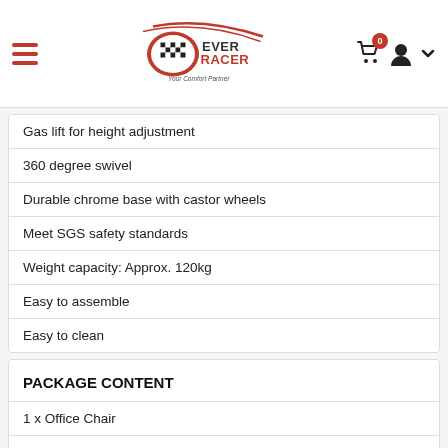EverRacer - Your Comfort Partner
Gas lift for height adjustment
360 degree swivel
Durable chrome base with castor wheels
Meet SGS safety standards
Weight capacity: Approx. 120kg
Easy to assemble
Easy to clean
PACKAGE CONTENT
1 x Office Chair
1 x Assembly Manual